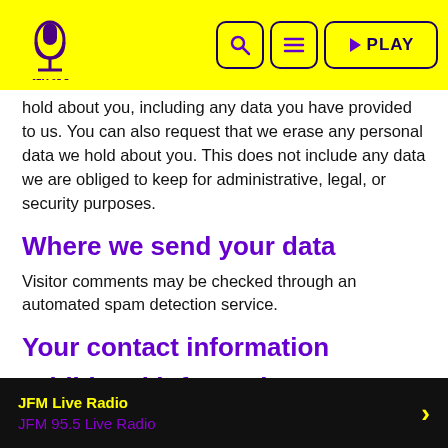JFM 95.5 Radio — navigation header with logo, search, menu, and PLAY buttons
hold about you, including any data you have provided to us. You can also request that we erase any personal data we hold about you. This does not include any data we are obliged to keep for administrative, legal, or security purposes.
Where we send your data
Visitor comments may be checked through an automated spam detection service.
Your contact information
Additional information
How we protect your data
JFM Live Radio — JFM 95.5 Live Radio